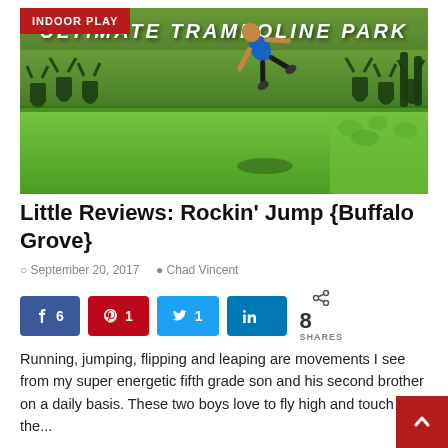[Figure (photo): A child doing a backflip on a large green trampoline/foam pit at an indoor trampoline park. The background features green walls with black silhouettes of people with raised hands, and a sign reading 'ULTIMATE TRAMPOLINE PARK'. A red badge in the top-left corner reads 'INDOOR PLAY'.]
Little Reviews: Rockin' Jump {Buffalo Grove}
September 20, 2017  Chad Vincent
6  1  1  8 SHARES
Running, jumping, flipping and leaping are movements I see from my super energetic fifth grade son and his second brother on a daily basis. These two boys love to fly high and touch the...